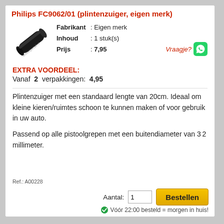Philips FC9062/01 (plintenzuiger, eigen merk)
[Figure (photo): Black cylindrical vacuum nozzle attachment (plintenzuiger) shown diagonally]
Fabrikant : Eigen merk
Inhoud : 1 stuk(s)
Prijs : 7,95
Vraagje?
EXTRA VOORDEEL:
Vanaf 2 verpakkingen: 4,95
Plintenzuiger met een standaard lengte van 20cm. Ideaal om kleine kieren/ruimtes schoon te kunnen maken of voor gebruik in uw auto.
Passend op alle pistoolgrepen met een buitendiameter van 32 millimeter.
Ref.: A00228
Voorraad: 5+
Aantal: 1
Bestellen
Vóór 22:00 besteld = morgen in huis!